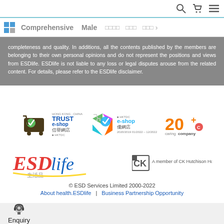Navigation bar with search, cart, and menu icons; category links: Comprehensive, Male, and Chinese characters
completeness and quality. In additions, all the contents published by the members are belonging to their own personal opinions and do not represent the positions and views from ESDlife. ESDlife is not liable to any loss or legal disputes arouse from the related content. For details, please refer to the ESDlife disclaimer.
[Figure (logo): HKTDC Trust e-shop logo with shopping cart and checkmark]
[Figure (logo): HKTDC e-shop 優網店 logo 2020/2019 01/2022 - 12/2022]
[Figure (logo): 20+ years Caring Company logo]
[Figure (logo): ESDlife 生活品 logo]
[Figure (logo): CK Hutchison Holdings member logo]
© ESD Services Limited 2000-2022 | About health.ESDlife | Business Partnership Opportunity
Enquiry